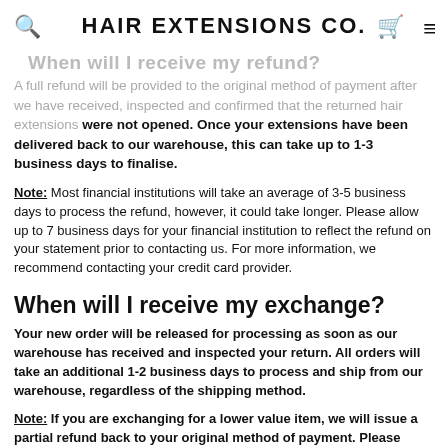HAIR EXTENSIONS CO.
A full refund will be provided to the original method of payment after we have received, inspected and confirmed that the returned hair extensions were not opened. Once your extensions have been delivered back to our warehouse, this can take up to 1-3 business days to finalise.
Note: Most financial institutions will take an average of 3-5 business days to process the refund, however, it could take longer. Please allow up to 7 business days for your financial institution to reflect the refund on your statement prior to contacting us. For more information, we recommend contacting your credit card provider.
When will I receive my exchange?
Your new order will be released for processing as soon as our warehouse has received and inspected your return. All orders will take an additional 1-2 business days to process and ship from our warehouse, regardless of the shipping method.
Note: If you are exchanging for a lower value item, we will issue a partial refund back to your original method of payment. Please allow up to 7 business days for this credit to appear on your bank statement. If you are exchanging for a higher value item, we will email you a custom invoice to